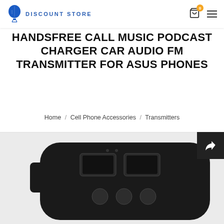DISCOUNT STORE
HANDSFREE CALL MUSIC PODCAST CHARGER CAR AUDIO FM TRANSMITTER FOR ASUS PHONES
Home / Cell Phone Accessories / Transmitters
[Figure (photo): Close-up photo of a black car FM transmitter device with dual USB ports and control buttons, partially visible against a white background. A dark share/forward button icon is overlaid in the top-right corner.]